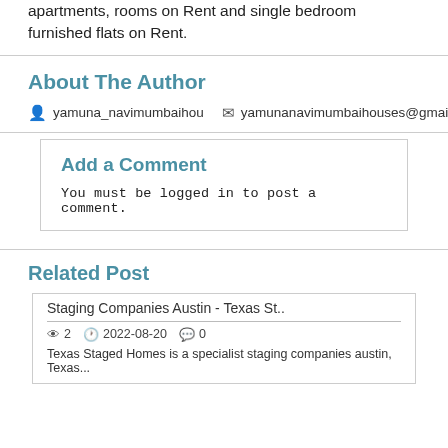apartments, rooms on Rent and single bedroom furnished flats on Rent.
About The Author
yamuna_navimumbaihou   yamunanavimumbaihouses@gmail.com
Add a Comment
You must be logged in to post a comment.
Related Post
Staging Companies Austin - Texas St..
2   2022-08-20   0
Texas Staged Homes is a specialist staging companies austin, Texas...